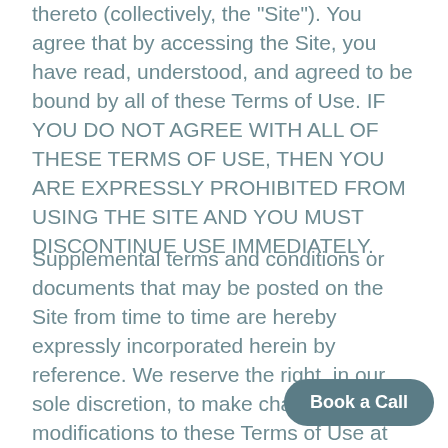thereto (collectively, the "Site"). You agree that by accessing the Site, you have read, understood, and agreed to be bound by all of these Terms of Use. IF YOU DO NOT AGREE WITH ALL OF THESE TERMS OF USE, THEN YOU ARE EXPRESSLY PROHIBITED FROM USING THE SITE AND YOU MUST DISCONTINUE USE IMMEDIATELY.
Supplemental terms and conditions or documents that may be posted on the Site from time to time are hereby expressly incorporated herein by reference. We reserve the right, in our sole discretion, to make changes or modifications to these Terms of Use at any time and for any reas... alert you about any changes by up...